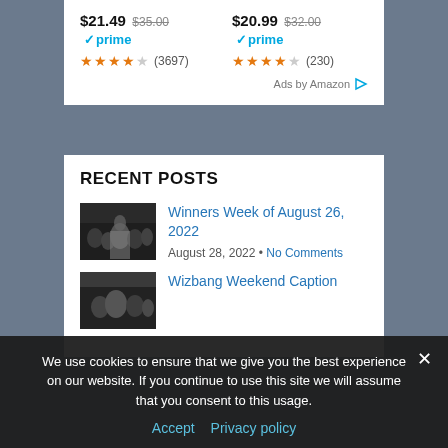[Figure (screenshot): Amazon ad showing two products with prices $21.49 (was $35.00) and $20.99 (was $32.00), both Prime, with star ratings (3697) and (230)]
$21.49 $35.00 prime (3697)
$20.99 $32.00 prime (230)
Ads by Amazon
RECENT POSTS
[Figure (photo): Crowd/event photo with a person in a suit]
Winners Week of August 26, 2022
August 28, 2022 • No Comments
[Figure (photo): Second post thumbnail image]
Wizbang Weekend Caption
We use cookies to ensure that we give you the best experience on our website. If you continue to use this site we will assume that you consent to this usage.
Accept  Privacy policy